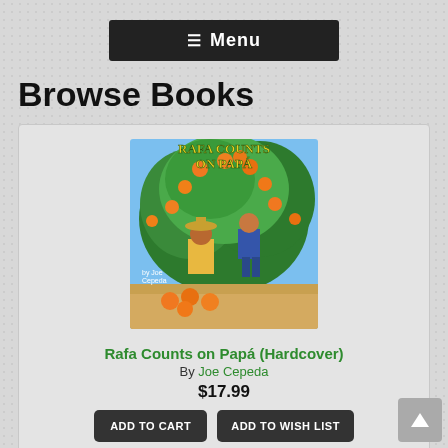≡ Menu
Browse Books
[Figure (illustration): Book cover for 'Rafa Counts on Papá' by Joe Cepeda, showing a boy and man under an orange tree]
Rafa Counts on Papá (Hardcover)
By Joe Cepeda
$17.99
ADD TO CART
ADD TO WISH LIST